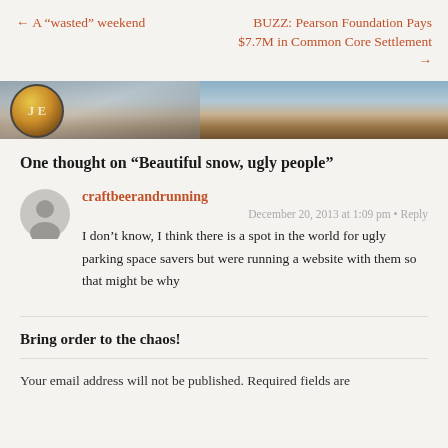← A “wasted” weekend
BUZZ: Pearson Foundation Pays $7.7M in Common Core Settlement →
[Figure (photo): Partial photo of a wooden dock/table scene with a circular logo/medallion visible on the left]
One thought on “Beautiful snow, ugly people”
craftbeerandrunning
December 20, 2013 at 1:09 pm • Reply
I don’t know, I think there is a spot in the world for ugly parking space savers but were running a website with them so that might be why
Bring order to the chaos!
Your email address will not be published. Required fields are